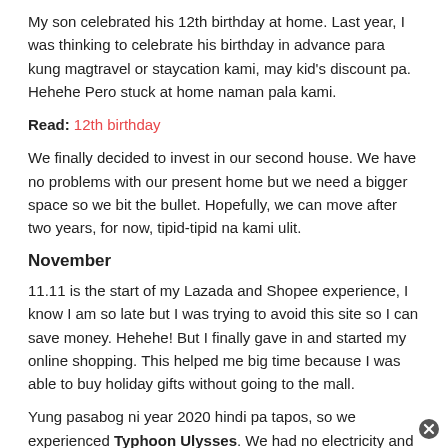My son celebrated his 12th birthday at home. Last year, I was thinking to celebrate his birthday in advance para kung magtravel or staycation kami, may kid's discount pa. Hehehe Pero stuck at home naman pala kami.
Read: 12th birthday
We finally decided to invest in our second house. We have no problems with our present home but we need a bigger space so we bit the bullet. Hopefully, we can move after two years, for now, tipid-tipid na kami ulit.
November
11.11 is the start of my Lazada and Shopee experience, I know I am so late but I was trying to avoid this site so I can save money. Hehehe! But I finally gave in and started my online shopping. This helped me big time because I was able to buy holiday gifts without going to the mall.
Yung pasabog ni year 2020 hindi pa tapos, so we experienced Typhoon Ulysses. We had no electricity and water for 16 hours.
Read: Typhoon Ulysses